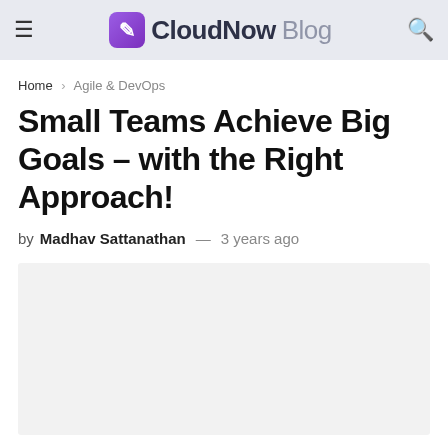CloudNow Blog
Home > Agile & DevOps
Small Teams Achieve Big Goals – with the Right Approach!
by Madhav Sattanathan — 3 years ago
[Figure (photo): Article featured image placeholder (light gray rectangle)]